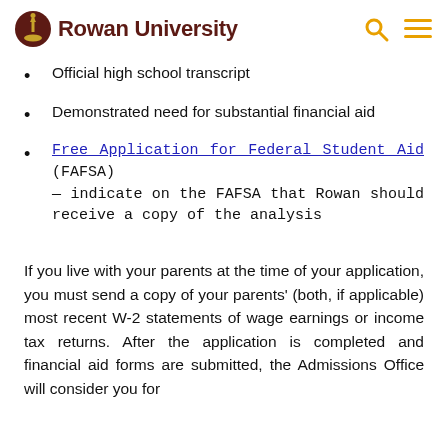Rowan University
Official high school transcript
Demonstrated need for substantial financial aid
Free Application for Federal Student Aid (FAFSA) — indicate on the FAFSA that Rowan should receive a copy of the analysis
If you live with your parents at the time of your application, you must send a copy of your parents' (both, if applicable) most recent W-2 statements of wage earnings or income tax returns. After the application is completed and financial aid forms are submitted, the Admissions Office will consider you for